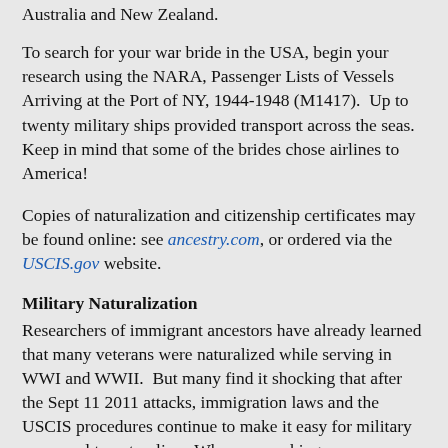Australia and New Zealand.
To search for your war bride in the USA, begin your research using the NARA, Passenger Lists of Vessels Arriving at the Port of NY, 1944-1948 (M1417).  Up to twenty military ships provided transport across the seas. Keep in mind that some of the brides chose airlines to America!
Copies of naturalization and citizenship certificates may be found online: see ancestry.com, or ordered via the USCIS.gov website.
Military Naturalization
Researchers of immigrant ancestors have already learned that many veterans were naturalized while serving in WWI and WWII.  But many find it shocking that after the Sept 11 2011 attacks, immigration laws and the USCIS procedures continue to make it easy for military personnel to naturalize.  When researching your more recent immigrant ancestors, know that about 29,000 foreign born serve in the US military today and are not American citizens. Approximately 8000 permanent immigrants with green cards join the armed forces annually.  The idea is “persons serving honorably in active-duty status in the US Armed